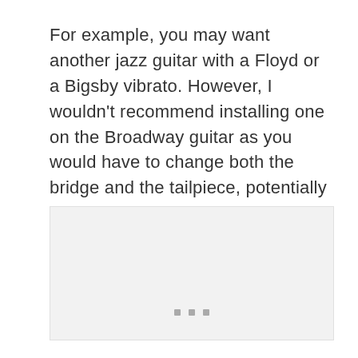For example, you may want another jazz guitar with a Floyd or a Bigsby vibrato. However, I wouldn't recommend installing one on the Broadway guitar as you would have to change both the bridge and the tailpiece, potentially hindering the guitar's performance.
[Figure (other): A light gray placeholder image box with three small gray squares near the bottom center, indicating an image loading or placeholder area.]